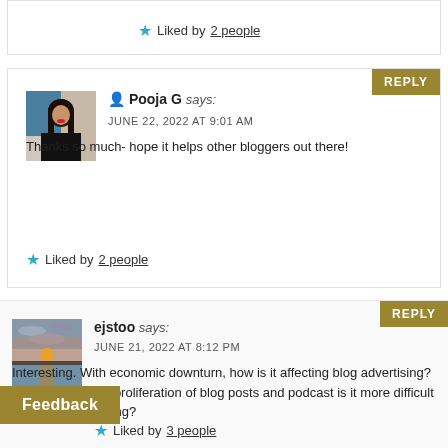Liked by 2 people
[Figure (photo): Avatar photo of Pooja G]
Pooja G says:
JUNE 22, 2022 AT 9:01 AM
Thanks so much- hope it helps other bloggers out there!
Liked by 2 people
[Figure (photo): Avatar photo of ejstoo showing a sunset over water]
ejstoo says:
JUNE 21, 2022 AT 8:12 PM
Interesting. With economic downturn, how is it affecting blog advertising? Also wonder with proliferation of blog posts and podcast is it more difficult to attract advertising?
Liked by 3 people